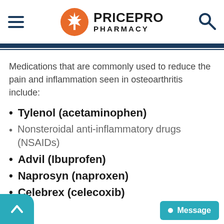[Figure (logo): PricePro Pharmacy logo with orange maple leaf circle and bold text]
Medications that are commonly used to reduce the pain and inflammation seen in osteoarthritis include:
Tylenol (acetaminophen)
Nonsteroidal anti-inflammatory drugs (NSAIDs)
Advil (Ibuprofen)
Naprosyn (naproxen)
Celebrex (celecoxib)